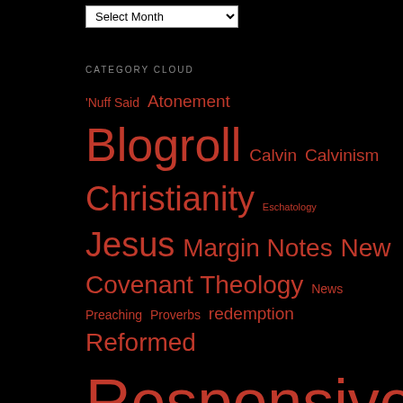[Figure (other): Dropdown select widget labeled 'Select Month']
CATEGORY CLOUD
'Nuff Said  Atonement  Blogroll  Calvin  Calvinism  Christianity  Eschatology  Jesus  Margin Notes  New Covenant Theology  News  Preaching  Proverbs  redemption  Reformed  Responsive  Reid-ing...blogging Christian style  Salvation  Sermon Notes  Sermons  Snippets  soteriology  Through the Word in 2020  Uncategorized  Walking in